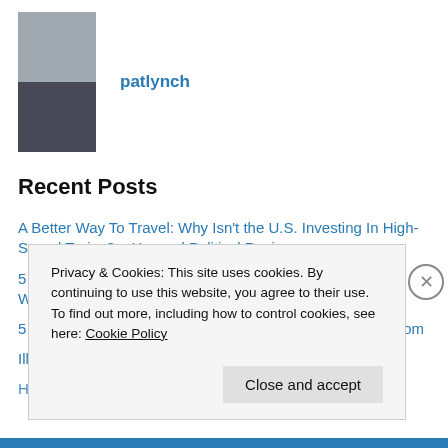[Figure (photo): Profile avatar with two stacked photos of a person]
patlynch
Recent Posts
A Better Way To Travel: Why Isn't the U.S. Investing In High-Speed Trains? – Harvard Political Review
5 Reasons California's High Speed Rail Is The Best Public Works Project In The United States – Carbonated.TV
5 questions on high-speed rail and its U.S. future – CNN.com
Illinois is a bright spot for improved passenger rail service
House Appropriators Declare War on Trains
Privacy & Cookies: This site uses cookies. By continuing to use this website, you agree to their use.
To find out more, including how to control cookies, see here: Cookie Policy
Close and accept